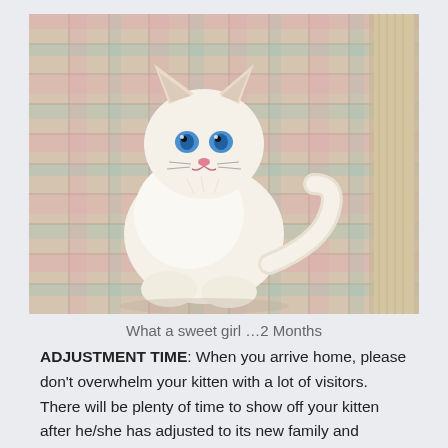[Figure (photo): A white fluffy kitten with blue eyes sitting on a colorful plaid/checkered quilt or blanket. The kitten is approximately 2 months old and has cream/white fur with light tan ear tips.]
What a sweet girl …2 Months
ADJUSTMENT TIME: When you arrive home, please don't overwhelm your kitten with a lot of visitors. There will be plenty of time to show off your kitten after he/she has adjusted to its new family and surroundings. It is best NOT to make the entire house available to the kitten